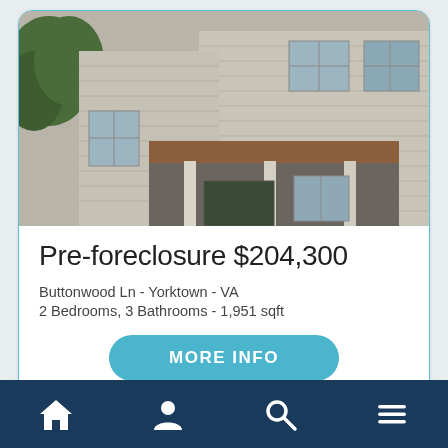[Figure (photo): Exterior photo of a two-story beige/tan house with white vinyl siding, covered front porch with columns, red/brown roof overhang, and trees in background]
Pre-foreclosure $204,300
Buttonwood Ln - Yorktown - VA
2 Bedrooms, 3 Bathrooms - 1,951 sqft
MORE INFO
[Figure (photo): Partial exterior photo of a house with trees in background - second listing card partially visible]
Navigation bar with home, profile, search, and menu icons